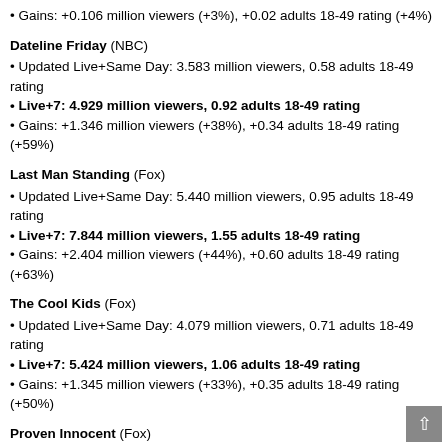• Gains: +0.106 million viewers (+3%), +0.02 adults 18-49 rating (+4%)
Dateline Friday (NBC)
• Updated Live+Same Day: 3.583 million viewers, 0.58 adults 18-49 rating
• Live+7: 4.929 million viewers, 0.92 adults 18-49 rating
• Gains: +1.346 million viewers (+38%), +0.34 adults 18-49 rating (+59%)
Last Man Standing (Fox)
• Updated Live+Same Day: 5.440 million viewers, 0.95 adults 18-49 rating
• Live+7: 7.844 million viewers, 1.55 adults 18-49 rating
• Gains: +2.404 million viewers (+44%), +0.60 adults 18-49 rating (+63%)
The Cool Kids (Fox)
• Updated Live+Same Day: 4.079 million viewers, 0.71 adults 18-49 rating
• Live+7: 5.424 million viewers, 1.06 adults 18-49 rating
• Gains: +1.345 million viewers (+33%), +0.35 adults 18-49 rating (+50%)
Proven Innocent (Fox)